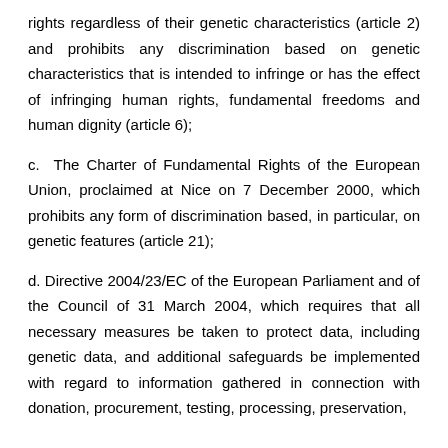rights regardless of their genetic characteristics (article 2) and prohibits any discrimination based on genetic characteristics that is intended to infringe or has the effect of infringing human rights, fundamental freedoms and human dignity (article 6);
c. The Charter of Fundamental Rights of the European Union, proclaimed at Nice on 7 December 2000, which prohibits any form of discrimination based, in particular, on genetic features (article 21);
d. Directive 2004/23/EC of the European Parliament and of the Council of 31 March 2004, which requires that all necessary measures be taken to protect data, including genetic data, and additional safeguards be implemented with regard to information gathered in connection with donation, procurement, testing, processing, preservation,